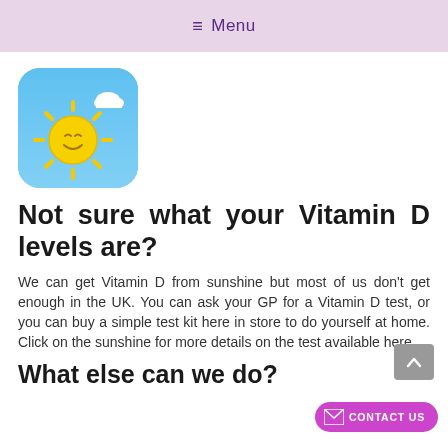≡ Menu
[Figure (illustration): App icon with rounded square corners showing a cartoon smiling sun with yellow rays on a blue sky background with a white cloud in the upper right corner]
Not sure what your Vitamin D levels are?
We can get Vitamin D from sunshine but most of us don't get enough in the UK. You can ask your GP for a Vitamin D test, or you can buy a simple test kit here in store to do yourself at home. Click on the sunshine for more details on the test available here.
What else can we do?